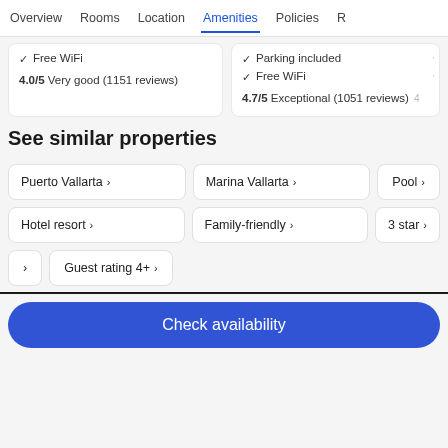Overview  Rooms  Location  Amenities  Policies  R
✓ Free WiFi
4.0/5 Very good (1151 reviews)
✓ Parking included
✓ Free WiFi
4.7/5 Exceptional (1051 reviews)
See similar properties
Puerto Vallarta ›
Marina Vallarta ›
Pool ›
Hotel resort ›
Family-friendly ›
3 star ›
›
Guest rating 4+ ›
Check availability